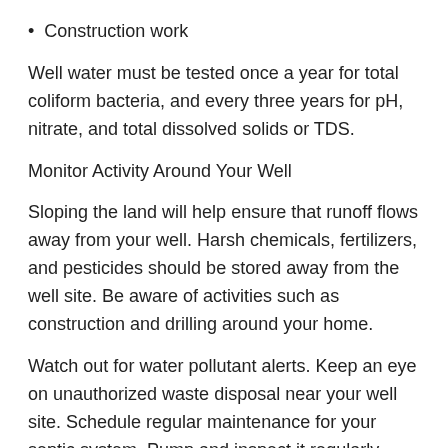Construction work
Well water must be tested once a year for total coliform bacteria, and every three years for pH, nitrate, and total dissolved solids or TDS.
Monitor Activity Around Your Well
Sloping the land will help ensure that runoff flows away from your well. Harsh chemicals, fertilizers, and pesticides should be stored away from the well site. Be aware of activities such as construction and drilling around your home.
Watch out for water pollutant alerts. Keep an eye on unauthorized waste disposal near your well site. Schedule regular maintenance for your septic system. Pump and inspect it regularly. Watch out for signs of overflow and cross-